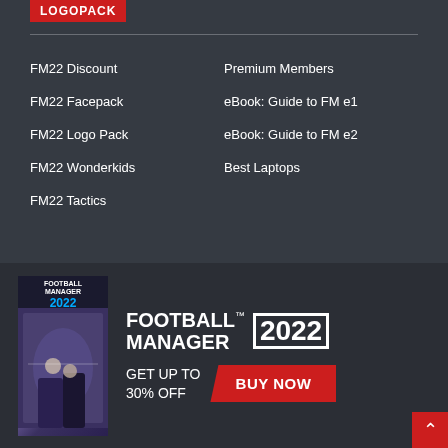LOGOPACK
FM22 Discount
Premium Members
FM22 Facepack
eBook: Guide to FM e1
FM22 Logo Pack
eBook: Guide to FM e2
FM22 Wonderkids
Best Laptops
FM22 Tactics
[Figure (illustration): Football Manager 2022 game box cover showing players and manager, alongside the Football Manager 2022 logo with GET UP TO 30% OFF text and a BUY NOW button on red background]